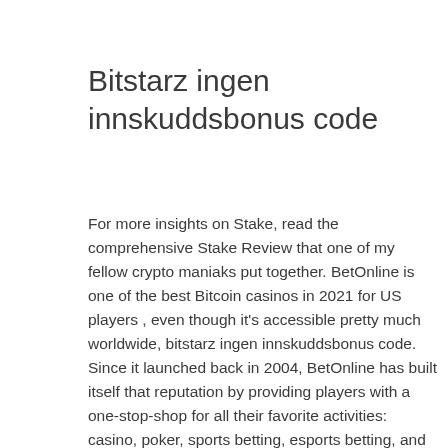Bitstarz ingen innskuddsbonus code
For more insights on Stake, read the comprehensive Stake Review that one of my fellow crypto maniaks put together. BetOnline is one of the best Bitcoin casinos in 2021 for US players , even though it's accessible pretty much worldwide, bitstarz ingen innskuddsbonus code. Since it launched back in 2004, BetOnline has built itself that reputation by providing players with a one-stop-shop for all their favorite activities: casino, poker, sports betting, esports betting, and more. All while offering great bonuses and promotions. BetOnline crypto casino interface.
Simply put, Betcoin is an online gambler's paradise, bitstarz ingen innskuddsbonus code.